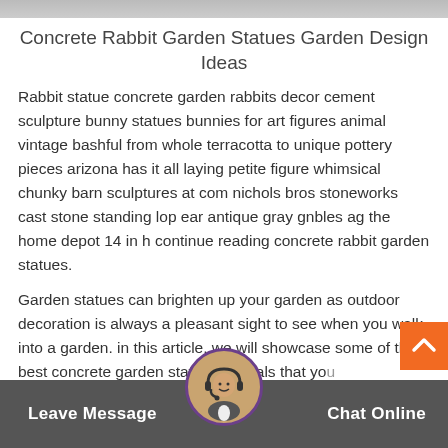[Figure (photo): Top image strip showing partial photo of garden or statues]
Concrete Rabbit Garden Statues Garden Design Ideas
Rabbit statue concrete garden rabbits decor cement sculpture bunny statues bunnies for art figures animal vintage bashful from whole terracotta to unique pottery pieces arizona has it all laying petite figure whimsical chunky barn sculptures at com nichols bros stoneworks cast stone standing lop ear antique gray gnbles ag the home depot 14 in h continue reading concrete rabbit garden statues.
Garden statues can brighten up your garden as outdoor decoration is always a pleasant sight to see when you walk into a garden. in this article, we will showcase some of the best concrete garden statues animals that you can use as outdoor deco
Leave Message   Chat Online